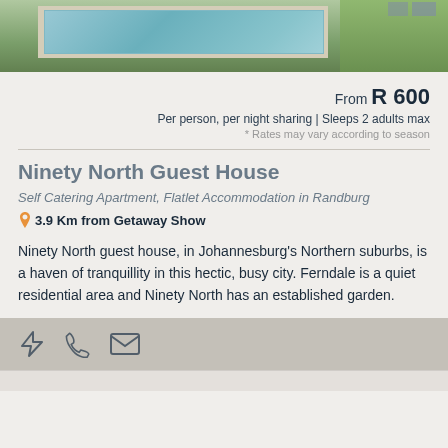[Figure (photo): Aerial/top view of a swimming pool with green lawn areas and surrounding patio, outdoor furniture visible]
From R 600
Per person, per night sharing | Sleeps 2 adults max
* Rates may vary according to season
Ninety North Guest House
Self Catering Apartment, Flatlet Accommodation in Randburg
3.9 Km from Getaway Show
Ninety North guest house, in Johannesburg's Northern suburbs, is a haven of tranquillity in this hectic, busy city. Ferndale is a quiet residential area and Ninety North has an established garden.
[Figure (other): Action bar with three icons: lightning bolt, phone, and envelope/email icons]